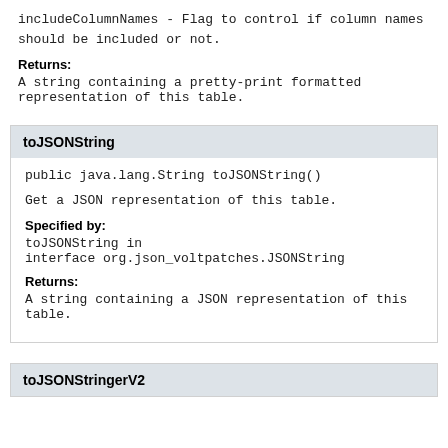includeColumnNames - Flag to control if column names should be included or not.
Returns:
A string containing a pretty-print formatted representation of this table.
toJSONString
public java.lang.String toJSONString()
Get a JSON representation of this table.
Specified by:
toJSONString in interface org.json_voltpatches.JSONString
Returns:
A string containing a JSON representation of this table.
toJSONStringerV2